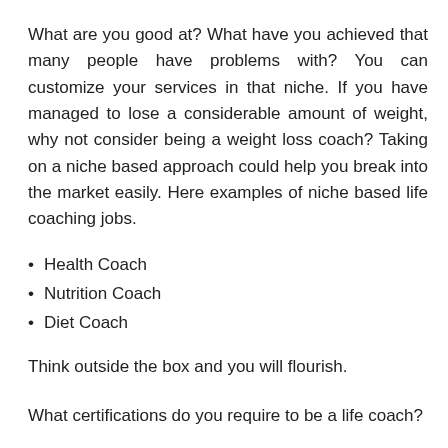What are you good at? What have you achieved that many people have problems with? You can customize your services in that niche. If you have managed to lose a considerable amount of weight, why not consider being a weight loss coach? Taking on a niche based approach could help you break into the market easily. Here examples of niche based life coaching jobs.
Health Coach
Nutrition Coach
Diet Coach
Think outside the box and you will flourish.
What certifications do you require to be a life coach?